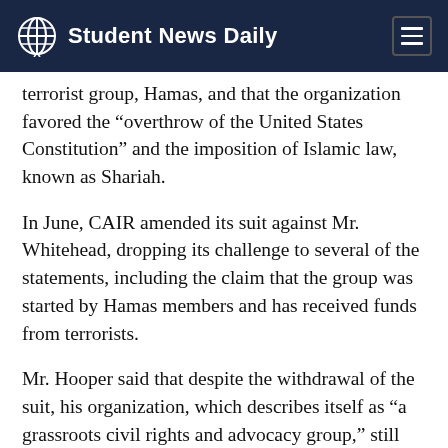Student News Daily
terrorist group, Hamas, and that the organization favored the “overthrow of the United States Constitution” and the imposition of Islamic law, known as Shariah.
In June, CAIR amended its suit against Mr. Whitehead, dropping its challenge to several of the statements, including the claim that the group was started by Hamas members and has received funds from terrorists.
Mr. Hooper said that despite the withdrawal of the suit, his organization, which describes itself as “a grassroots civil rights and advocacy group,” still contends that Mr. Whitehead’s assertions are false. “We’ve always denied them. We continue to deny